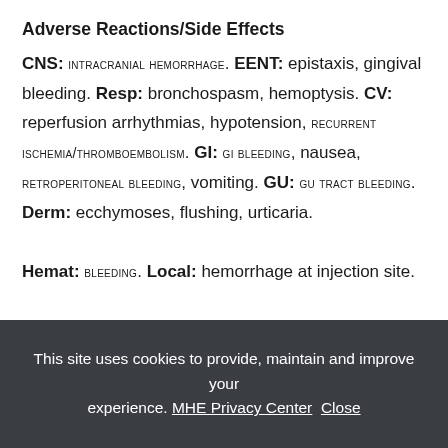Adverse Reactions/Side Effects
CNS: INTRACRANIAL HEMORRHAGE. EENT: epistaxis, gingival bleeding. Resp: bronchospasm, hemoptysis. CV: reperfusion arrhythmias, hypotension, RECURRENT ISCHEMIA/THROMBOEMBOLISM. GI: GI BLEEDING, nausea, RETROPERITONEAL BLEEDING, vomiting. GU: GU TRACT BLEEDING. Derm: ecchymoses, flushing, urticaria.
Hemat: BLEEDING. Local: hemorrhage at injection site.
This site uses cookies to provide, maintain and improve your experience. MHE Privacy Center  Close